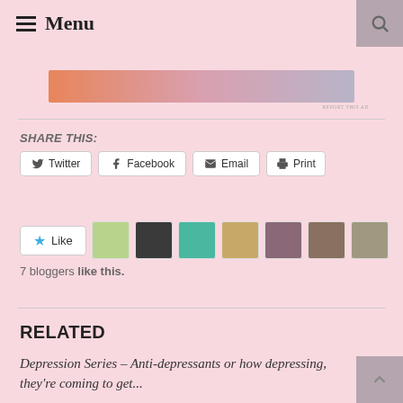≡ Menu
[Figure (screenshot): Advertisement banner with orange to pink gradient, 'REPORT THIS AD' label]
SHARE THIS:
Twitter | Facebook | Email | Print
7 bloggers like this.
RELATED
Depression Series – Anti-depressants or how depressing, they're coming to get...